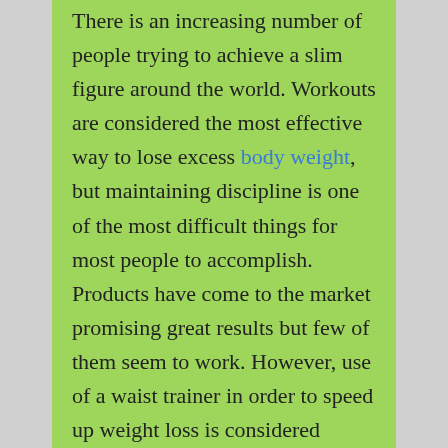There is an increasing number of people trying to achieve a slim figure around the world. Workouts are considered the most effective way to lose excess body weight, but maintaining discipline is one of the most difficult things for most people to accomplish. Products have come to the market promising great results but few of them seem to work. However, use of a waist trainer in order to speed up weight loss is considered highly effective.

There are very many waist trainers in the market today, making it hard to